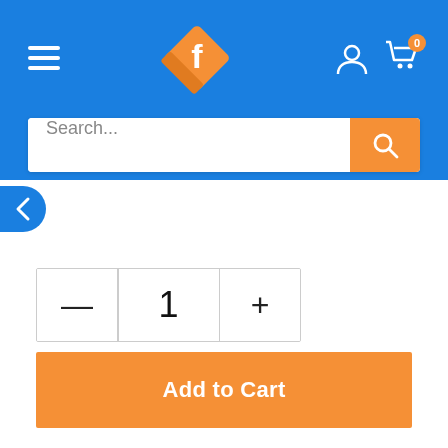[Figure (screenshot): E-commerce website header with blue background, orange diamond 'f' logo in center, hamburger menu on left, user and cart icons on right with cart badge showing 0]
Search...
Add to Cart
Same Day Dispatch,  Fast Delivery Between Fri, 02nd Sep and Mon, 05th Sep